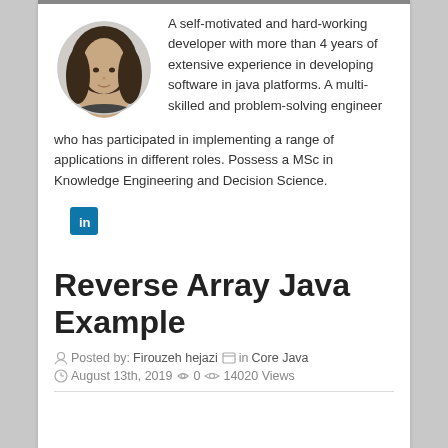[Figure (photo): Circular profile photo of a woman with dark hair]
A self-motivated and hard-working developer with more than 4 years of extensive experience in developing software in java platforms. A multi-skilled and problem-solving engineer who has participated in implementing a range of applications in different roles. Possess a MSc in Knowledge Engineering and Decision Science.
[Figure (logo): LinkedIn icon button (blue square with 'in' text)]
Reverse Array Java Example
Posted by: Firouzeh hejazi   in Core Java   August 13th, 2019   0   14020 Views